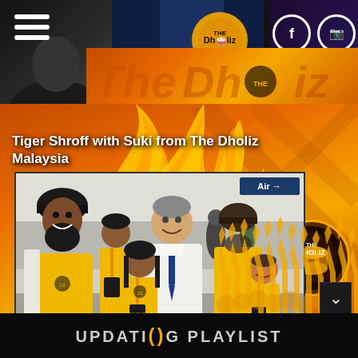[Figure (photo): Top banner with hamburger menu, The Dholiz logo badge, blue photo strip, and social media icons (Facebook and Instagram) on dark background]
Tiger Shroff with Suki from The Dholiz Malaysia
[Figure (photo): Group photo of people in yellow Dholiz shirts with a man in white suit and blue tie, at what appears to be an airport or event venue. The Dholiz Malaysia team with Anupam Kher.]
Anupam Kher with The Dholiz Malaysia
UPDATING PLAYLIST